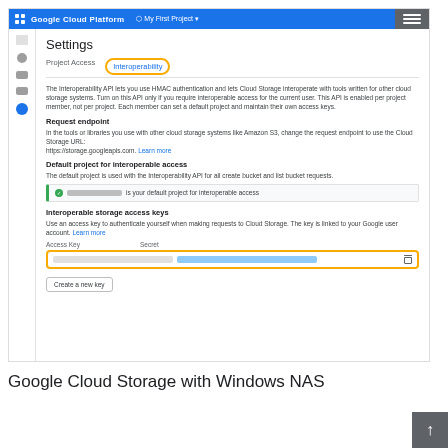[Figure (screenshot): Google Cloud Platform Settings page showing the Interoperability tab. Contains sections for Request endpoint, Default project for interoperable access, and Interoperable storage access keys with a highlighted key row and Create a new key button.]
Google Cloud Storage with Windows NAS